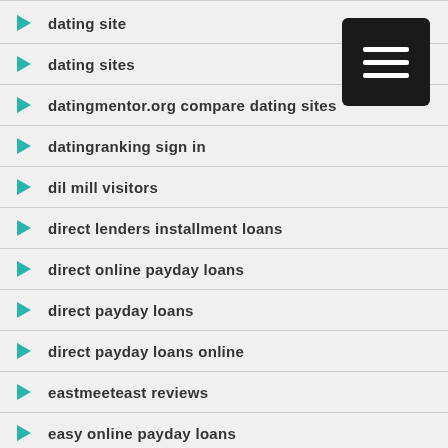dating site
dating sites
datingmentor.org compare dating sites
datingranking sign in
dil mill visitors
direct lenders installment loans
direct online payday loans
direct payday loans
direct payday loans online
eastmeeteast reviews
easy online payday loans
easy payday loans